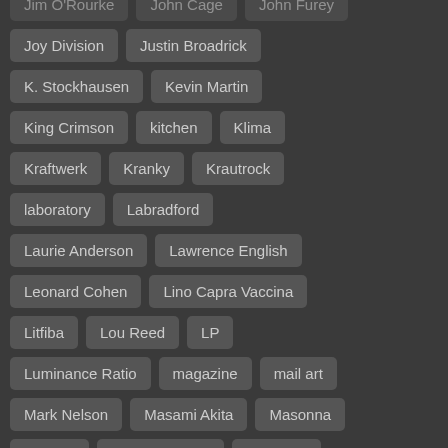Jim O'Rourke
John Cage
John Furey
Joy Division
Justin Broadrick
K. Stockhausen
Kevin Martin
King Crimson
kitchen
Klima
Kraftwerk
Kranky
Krautrock
laboratory
Labradford
Laurie Anderson
Lawrence English
Leonard Cohen
Lino Capra Vaccina
Litfiba
Lou Reed
LP
Luminance Ratio
magazine
mail art
Mark Nelson
Masami Akita
Masonna
Melvins
Meredith Monk
Merzbow